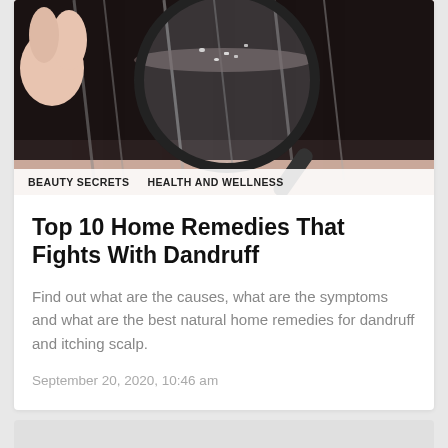[Figure (photo): Close-up of a person holding a magnifying glass over dark hair showing dandruff/scalp]
BEAUTY SECRETS   HEALTH AND WELLNESS
Top 10 Home Remedies That Fights With Dandruff
Find out what are the causes, what are the symptoms and what are the best natural home remedies for dandruff and itching scalp.
September 20, 2020, 10:46 am
[Figure (photo): Partially visible second article card with light grey background]